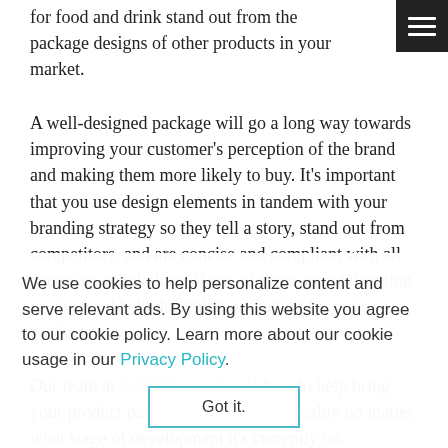[Figure (other): Dark hamburger menu icon button in top-right corner]
for food and drink stand out from the package designs of other products in your market.
A well-designed package will go a long way towards improving your customer's perception of the brand and making them more likely to buy. It's important that you use design elements in tandem with your branding strategy so they tell a story, stand out from competitors, and are concise and compliant with all necessary regulations. If any of these sound daunting or you need help designing packaging for your products contact us!
Our team at ADEPT Creative is here to help bring your product packaging dreams into reality no matter what stage of development it's currently on.
We use cookies to help personalize content and serve relevant ads. By using this website you agree to our cookie policy. Learn more about our cookie usage in our Privacy Policy.
Got it.